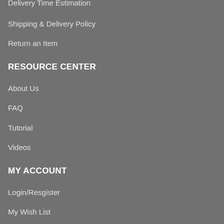Delivery Time Estimation
Shipping & Delivery Policy
Return an Item
RESOURCE CENTER
About Us
FAQ
Tutorial
Videos
MY ACCOUNT
Login/Resgister
My Wish List
Order Status